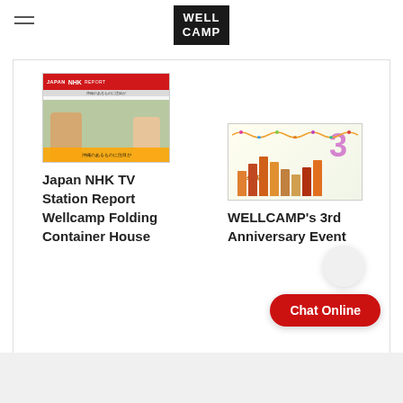[Figure (logo): WELLCAMP logo in white text on black background]
[Figure (photo): Japan NHK TV Station thumbnail with news anchors and Japanese text caption]
Japan NHK TV Station Report Wellcamp Folding Container House
[Figure (photo): WELLCAMP 3rd Anniversary Event promotional image with number 3 and buildings]
WELLCAMP's 3rd Anniversary Event